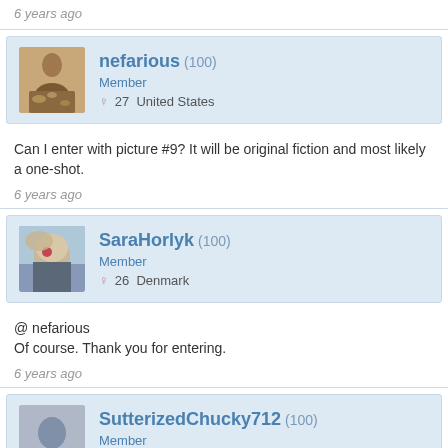6 years ago
[Figure (photo): User avatar for nefarious: person sitting on ground with puzzle pieces]
nefarious (100)
Member
27  United States
Can I enter with picture #9? It will be original fiction and most likely a one-shot.
6 years ago
[Figure (photo): User avatar for SaraHorlyk: person with hair accessory, back view, near water]
SaraHorlyk (100)
Member
26  Denmark
@ nefarious
Of course. Thank you for entering.
6 years ago
[Figure (photo): User avatar for SutterizedChucky712: partial avatar visible, muted colors]
SutterizedChucky712 (100)
Member
33  United States